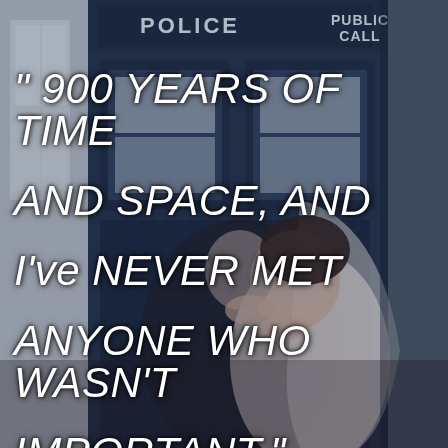[Figure (photo): A couple embracing and kissing in front of a TARDIS police box. The bride is wearing a white wedding dress and veil, and the groom is in a dark suit. The background shows the dark blue TARDIS with 'POLICE PUBLIC CALL' text at the top. A white window frame is visible on the left side.]
“ 900 YEARS OF TIME AND SPACE, AND I’VE NEVER MET ANYONE WHO WASN’T IMPORTANT.”